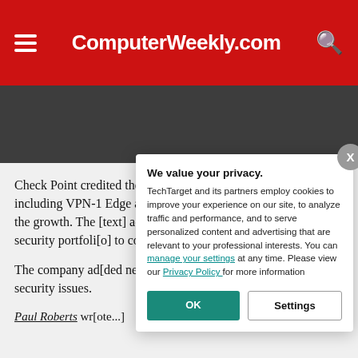ComputerWeekly.com
Check Point credited the success of new products, including VPN-1 Edge and Check Point Express, for the growth. The [text continues] acquired with Zo[neAlarm] security portfoli[o...] to consumers.
The company ad[ded new] products that wil[l address] security issues.
Paul Roberts wr[ote...]
[Figure (screenshot): Privacy consent modal dialog with title 'We value your privacy.' and body text about TechTarget cookies and partners, with links to manage settings and Privacy Policy, and OK and Settings buttons.]